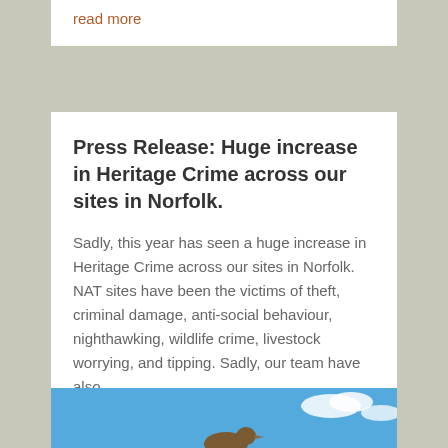read more
Press Release: Huge increase in Heritage Crime across our sites in Norfolk.
Sadly, this year has seen a huge increase in Heritage Crime across our sites in Norfolk. NAT sites have been the victims of theft, criminal damage, anti-social behaviour, nighthawking, wildlife crime, livestock worrying, and tipping. Sadly, our team have also...
read more
[Figure (photo): Blue sky with clouds and a bird silhouette at the bottom]